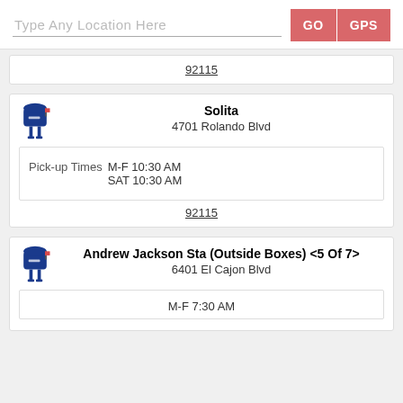Type Any Location Here | GO | GPS
92115
Solita
4701 Rolando Blvd
Pick-up Times  M-F 10:30 AM  SAT 10:30 AM
92115
Andrew Jackson Sta (Outside Boxes) <5 Of 7>
6401 El Cajon Blvd
M-F 7:30 AM